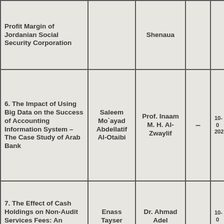| Title | Student | Supervisor |  | Date |
| --- | --- | --- | --- | --- |
| Profit Margin of Jordanian Social Security Corporation |  | Shenaua |  |  |
| 6. The Impact of Using Big Data on the Success of Accounting Information System – The Case Study of Arab Bank | Saleem Mo`ayad Abdellatif Al-Otaibi | Prof. Inaam M. H. Al-Zwaylif | – | 10-(...) 202(...) |
| 7. The Effect of Cash Holdings on Non-Audit Services Fees: An Empirical Study on | Enass Tayser | Dr. Ahmad Adel |  | 10-(...) |